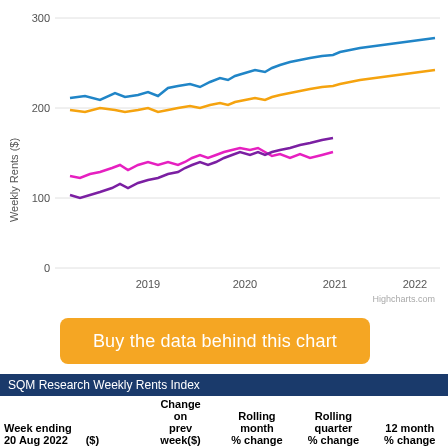[Figure (line-chart): Line chart showing weekly rents from 2019 to 2022 for multiple property types. Four lines: blue (~280-310 range), orange/yellow (~240-270 range), magenta/pink (~170-200 range), purple (~150-180 range). Y-axis shows 0, 100, 200, 300. X-axis shows 2019, 2020, 2021, 2022.]
Buy the data behind this chart
| Week ending 20 Aug 2022 | ($) | Change on prev week($) | Rolling month % change | Rolling quarter % change | 12 month % change |
| --- | --- | --- | --- | --- | --- |
| All Houses | 435.86 | -5.86 ▼ | 2.8% ▲ | 9.0% ▲ | 15.3% ▲ |
| 3 br Houses | 378.98 | 1.02 ▲ | 2.8% ▲ | 4.6% ▲ | 21.2% ▲ |
| Postcode | … | … | … | … | … |